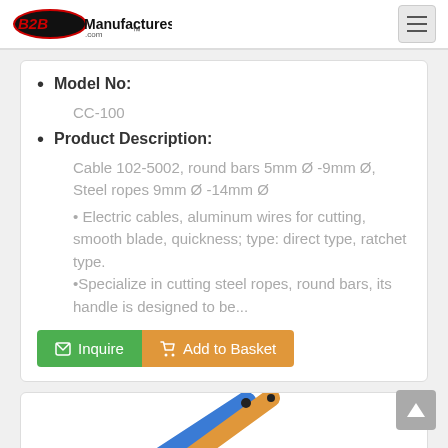B2BManufactures.com
Model No: CC-100
Product Description: Cable 102-5002, round bars 5mm Ø -9mm Ø, Steel ropes 9mm Ø -14mm Ø • Electric cables, aluminum wires for cutting, smooth blade, quickness; type: direct type, ratchet type. •Specialize in cutting steel ropes, round bars, its handle is designed to be...
[Figure (photo): Partial view of cable cutters with orange and blue handles, shown diagonally at the bottom of the page.]